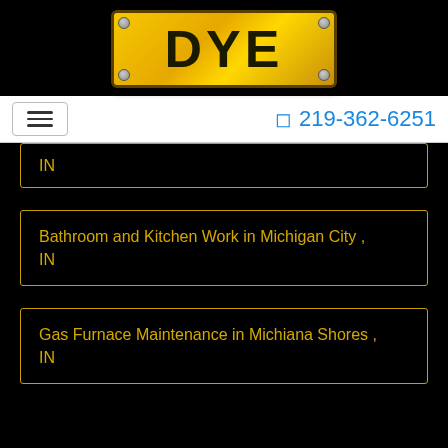[Figure (logo): DYE company logo: gold metallic plate with black bold text 'DYE' and screws at corners]
219-362-6251
IN
Bathroom and Kitchen Work in Michigan City , IN
Gas Furnace Maintenance in Michiana Shores , IN